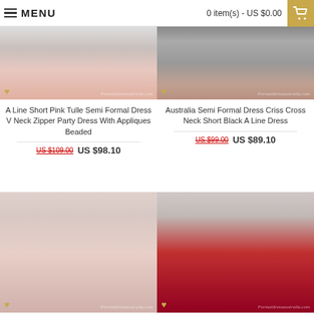MENU | 0 item(s) - US $0.00
[Figure (photo): Pink tulle semi formal dress product photo, lower half visible]
[Figure (photo): Black short A-line dress product photo, lower half visible]
A Line Short Pink Tulle Semi Formal Dress V Neck Zipper Party Dress With Appliques Beaded
Australia Semi Formal Dress Criss Cross Neck Short Black A Line Dress
US $109.00  US $98.10
US $99.00  US $89.10
[Figure (photo): Pink cocktail dress with straps, full figure photo]
[Figure (photo): Red cocktail dress with straps, full figure photo]